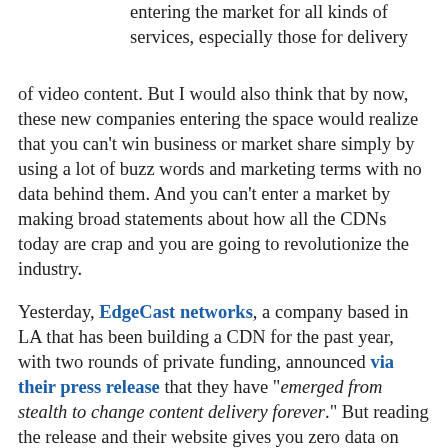entering the market for all kinds of services, especially those for delivery of video content. But I would also think that by now, these new companies entering the space would realize that you can't win business or market share simply by using a lot of buzz words and marketing terms with no data behind them. And you can't enter a market by making broad statements about how all the CDNs today are crap and you are going to revolutionize the industry.
Yesterday, EdgeCast networks, a company based in LA that has been building a CDN for the past year, with two rounds of private funding, announced via their press release that they have "emerged from stealth to change content delivery forever." But reading the release and their website gives you zero data on how they plan to do this and is filled with lots of marketing terms, but no real details.
For starters, they talk to how they have built a "multi-million dollar, four-continent content delivery network architected